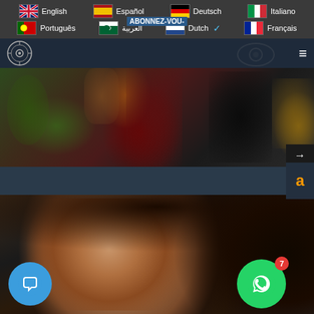[Figure (screenshot): Website navigation bar with language selector showing flags and language names: English (UK flag), Español (Spanish flag), Deutsch (German flag), Italiano (Italian flag), Português (Portuguese flag), العربية (Algerian flag), Dutch (Netherlands flag with checkmark), Français (French flag). Partially visible text 'ABONNEZ-VOUS' overlaps the Dutch/French row. Below is a dark navy navigation bar with a circular logo on the left and hamburger menu icon on the right.]
[Figure (photo): A cropped photo showing a dark atmospheric scene with plants, copper/metallic objects, red fabric, and what appears to be hands. Dark moody lighting. Arrow button in bottom right corner.]
[Figure (photo): Close-up portrait photo of a young Black woman with curly hair and light eyes, looking directly at camera. Dark background. Blue chat bubble button in bottom left, green WhatsApp button with red badge showing '7' in bottom right.]